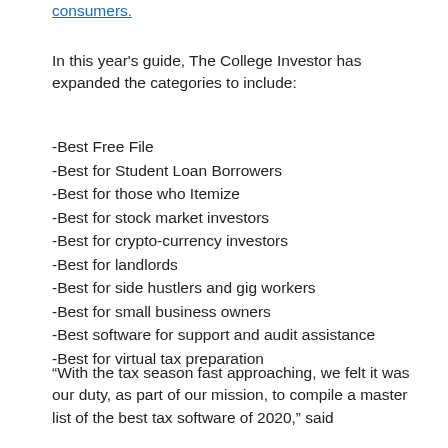consumers.
In this year's guide, The College Investor has expanded the categories to include:
-Best Free File
-Best for Student Loan Borrowers
-Best for those who Itemize
-Best for stock market investors
-Best for crypto-currency investors
-Best for landlords
-Best for side hustlers and gig workers
-Best for small business owners
-Best software for support and audit assistance
-Best for virtual tax preparation
“With the tax season fast approaching, we felt it was our duty, as part of our mission, to compile a master list of the best tax software of 2020,” said